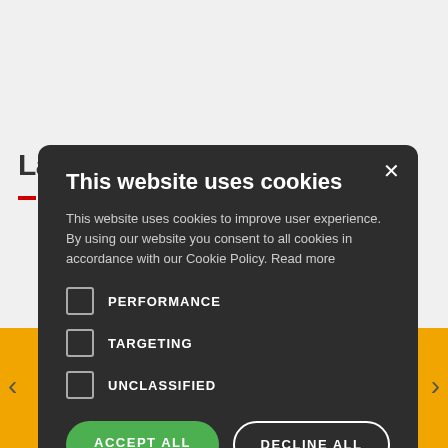[Figure (screenshot): Website background showing 'Latest News' heading, navigation arrows, yellow banner at bottom with 'Update browser' and 'Ignore' buttons, and partial text 'Today's' and 'rtment of ve cases;']
This website uses cookies
This website uses cookies to improve user experience. By using our website you consent to all cookies in accordance with our Cookie Policy. Read more
PERFORMANCE
TARGETING
UNCLASSIFIED
ACCEPT ALL
DECLINE ALL
SHOW DETAILS